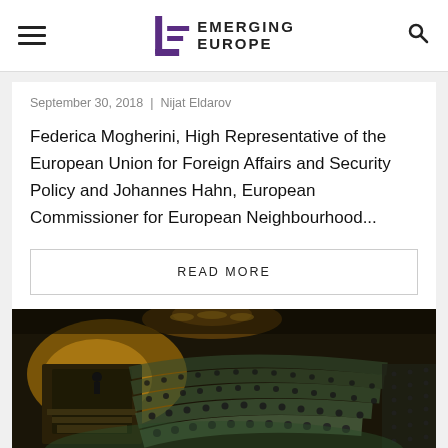EMERGING EUROPE
September 30, 2018  |  Nijat Eldarov
Federica Mogherini, High Representative of the European Union for Foreign Affairs and Security Policy and Johannes Hahn, European Commissioner for European Neighbourhood...
READ MORE
[Figure (photo): Wide-angle interior photo of a large international assembly hall, likely the UN General Assembly, filled with delegates seated in curved rows. A illuminated podium and stage area are visible at the front left, with warm golden lighting. The hall is crowded with attendees.]